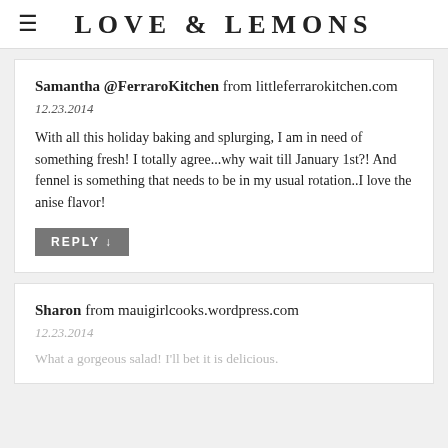LOVE & LEMONS
Samantha @FerraroKitchen from littleferrarokitchen.com
12.23.2014
With all this holiday baking and splurging, I am in need of something fresh! I totally agree...why wait till January 1st?! And fennel is something that needs to be in my usual rotation..I love the anise flavor!
REPLY ↓
Sharon from mauigirlcooks.wordpress.com
12.23.2014
What a gorgeous salad! I'll bet it is delicious.